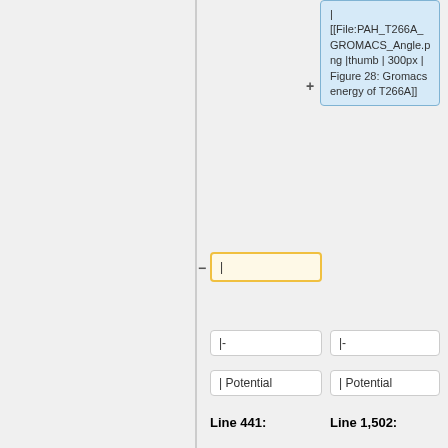| [[File:PAH_T266A_GROMACS_Angle.png |thumb | 300px | Figure 28: Gromacs energy of T266A]]
| (yellow box)
|-
|-
| Potential
| Potential
Line 441:
Line 1,502:
| 3239.42
| 3239.42
| -4913.99
| -4913.99
| [[File:PAH_T266A_GROMACS_Potential.png |thumb | 300px | Figure 29: Gromacs energy of T266A]]
| (yellow box at bottom)